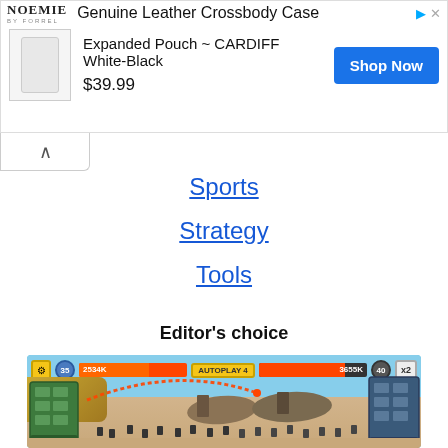[Figure (screenshot): Advertisement banner for Noemie Genuine Leather Crossbody Case - Expanded Pouch CARDIFF White-Black priced at $39.99 with Shop Now button]
Sports
Strategy
Tools
Editor's choice
[Figure (screenshot): Mobile game screenshot showing a military battle game with two fortresses, soldiers on a beach, ships, and a projectile arc. HUD shows player levels 35 and 40, health bars showing 2534K and 3655K, AUTOPLAY 4, and x2 multiplier.]